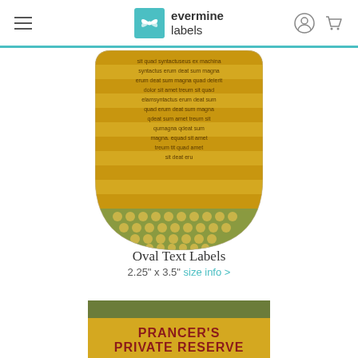evermine labels
[Figure (illustration): Oval shaped label with striped gold/yellow background and dot pattern at bottom, containing placeholder lorem ipsum text]
Oval Text Labels
2.25" x 3.5" size info >
[Figure (illustration): Rectangular wine label with dark olive green top band, gold/yellow body, reading PRANCER'S PRIVATE RESERVE in dark red bold text, followed by body text about ice wine and holiday wishes, then HAPPY HOLIDAYS FROM THE PAULSONS in bold, and Santa's Winery at bottom]